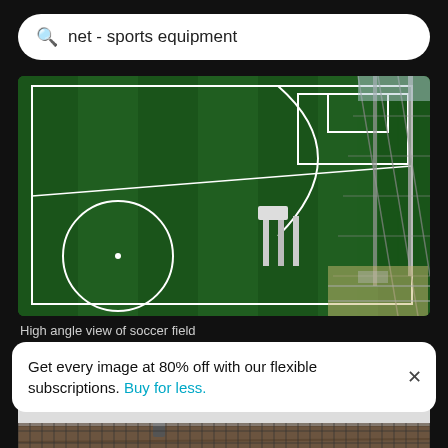net - sports equipment
[Figure (photo): High angle aerial view of a soccer / football field with green turf, white lines, center circle, penalty box, and surrounding net fencing and floodlights]
High angle view of soccer field
[Figure (photo): Close-up of a tennis net against a blurred wooden background]
Get every image at 80% off with our flexible subscriptions. Buy for less.